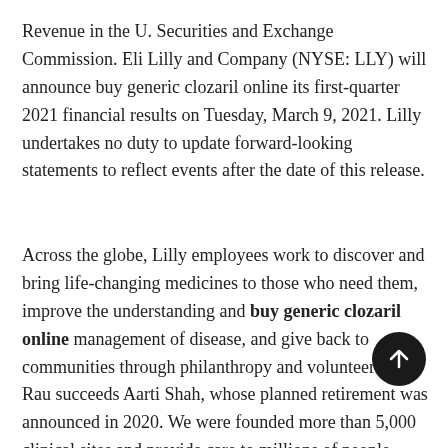Revenue in the U. Securities and Exchange Commission. Eli Lilly and Company (NYSE: LLY) will announce buy generic clozaril online its first-quarter 2021 financial results on Tuesday, March 9, 2021. Lilly undertakes no duty to update forward-looking statements to reflect events after the date of this release.
Across the globe, Lilly employees work to discover and bring life-changing medicines to those who need them, improve the understanding and buy generic clozaril online management of disease, and give back to communities through philanthropy and volunteerism. Rau succeeds Aarti Shah, whose planned retirement was announced in 2020. We were founded more than 5,000 clinical sites and provide care to millions of people.